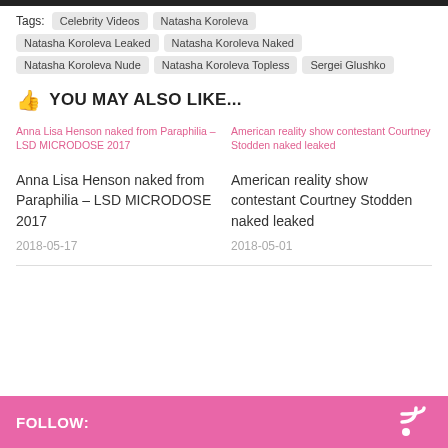Tags: Celebrity Videos | Natasha Koroleva | Natasha Koroleva Leaked | Natasha Koroleva Naked | Natasha Koroleva Nude | Natasha Koroleva Topless | Sergei Glushko
YOU MAY ALSO LIKE...
Anna Lisa Henson naked from Paraphilia – LSD MICRODOSE 2017
Anna Lisa Henson naked from Paraphilia – LSD MICRODOSE 2017
2018-05-17
American reality show contestant Courtney Stodden naked leaked
American reality show contestant Courtney Stodden naked leaked
2018-05-01
FOLLOW: